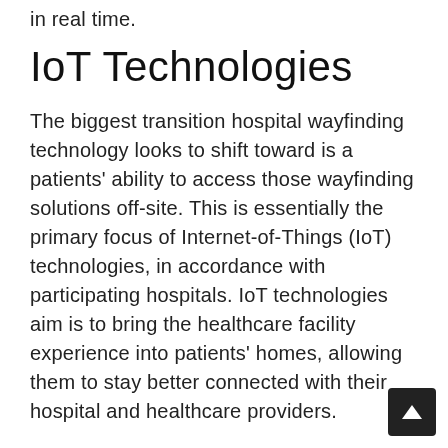in real time.
IoT Technologies
The biggest transition hospital wayfinding technology looks to shift toward is a patients' ability to access those wayfinding solutions off-site. This is essentially the primary focus of Internet-of-Things (IoT) technologies, in accordance with participating hospitals. IoT technologies aim is to bring the healthcare facility experience into patients' homes, allowing them to stay better connected with their hospital and healthcare providers.
Future IoT healthcare capabilities will include:
Barcoding and label systems to transmit medical data from patient to physician in real